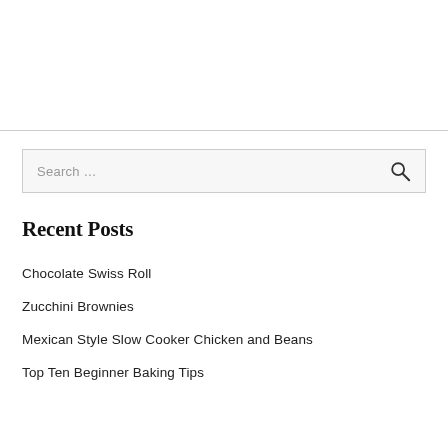[Figure (other): Blank white area at top of page, likely a banner or header image area]
Recent Posts
Chocolate Swiss Roll
Zucchini Brownies
Mexican Style Slow Cooker Chicken and Beans
Top Ten Beginner Baking Tips